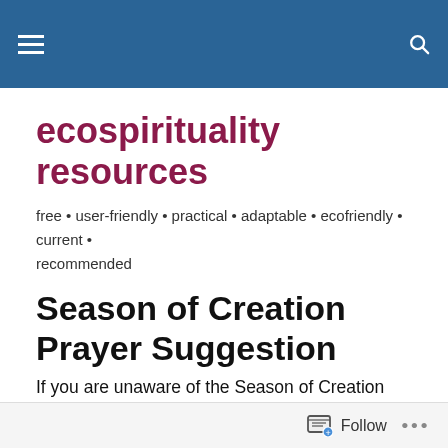ecospirituality resources
ecospirituality resources
free • user-friendly • practical • adaptable • ecofriendly • current • recommended
Season of Creation Prayer Suggestion
If you are unaware of the Season of Creation (Sept. 1 – Oct. 4), please read my last post. What follows is a possible prayer service that groups can adapt as they wish. For a two-sided pdf copy, contact terrishcj@aol.com.
Follow